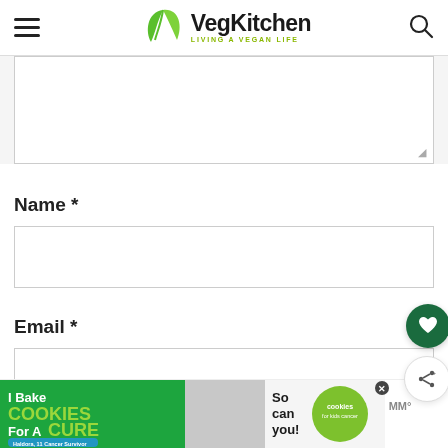VegKitchen — LIVING A VEGAN LIFE
[Figure (screenshot): Comment textarea input box (empty), partially visible at top]
Name *
[Figure (screenshot): Name input text field (empty)]
Email *
[Figure (screenshot): Email input text field (empty, partially visible)]
[Figure (infographic): Advertisement banner: 'I Bake COOKIES For A CURE — Haldora, 11 Cancer Survivor — So can you! cookies for kids cancer' with close button]